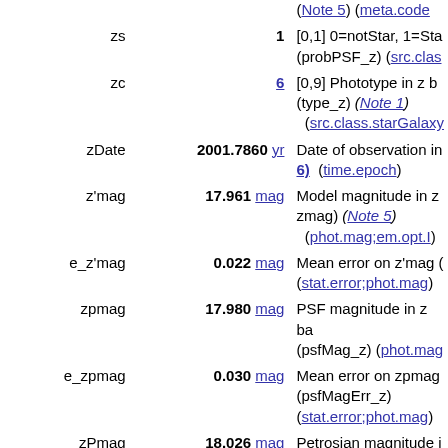| Name | Value | Description |
| --- | --- | --- |
| zs | 1 | [0,1] 0=notStar, 1=Star (probPSF_z) (src.class...) |
| zc | 6 | [0,9] Phototype in z band (type_z) (Note 1) (src.class.starGalaxy...) |
| zDate | 2001.7860 yr | Date of observation in ... (time.epoch) |
| z'mag | 17.961 mag | Model magnitude in z ... zmag) (Note 5) (phot.mag;em.opt.I) |
| e_z'mag | 0.022 mag | Mean error on z'mag (stat.error;phot.mag) |
| zpmag | 17.980 mag | PSF magnitude in z band (psfMag_z) (phot.mag...) |
| e_zpmag | 0.030 mag | Mean error on zpmag (psfMagErr_z) (stat.error;phot.mag) |
| zPmag | 18.026 mag | Petrosian magnitude in ... (petroMag_z) (phot.m...) |
| e_zPmag | 0.043 mag | Mean error on zPmag (petroMagErr_z) (stat.error;phot.mag) |